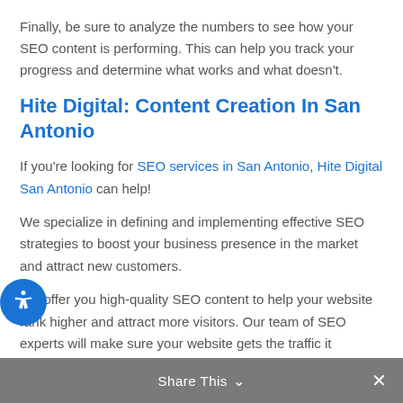Finally, be sure to analyze the numbers to see how your SEO content is performing. This can help you track your progress and determine what works and what doesn't.
Hite Digital: Content Creation In San Antonio
If you're looking for SEO services in San Antonio, Hite Digital San Antonio can help!
We specialize in defining and implementing effective SEO strategies to boost your business presence in the market and attract new customers.
We offer you high-quality SEO content to help your website rank higher and attract more visitors. Our team of SEO experts will make sure your website gets the traffic it deserves.
Share This ∨  ✕